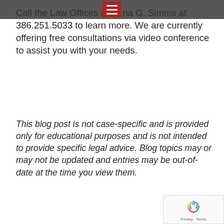Call the Law Offices of Dana G. Simms at 386.251.5033 to learn more. We are currently offering free consultations via video conference to assist you with your needs.
This blog post is not case-specific and is provided only for educational purposes and is not intended to provide specific legal advice. Blog topics may or may not be updated and entries may be out-of-date at the time you view them.
Posted in Choosing Your Lawyer, End of Life, Estate Planning, Final Wishes, Will | Leave a reply
Did You Include Your Pet in Your Estate Plan?
People consider their spouses and children when creating their estate plan.  But, pets are family, too.